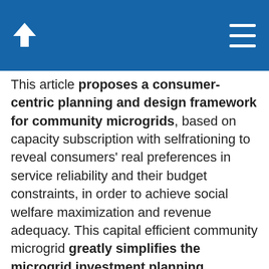This article proposes a consumer-centric planning and design framework for community microgrids, based on capacity subscription with selfrationing to reveal consumers' real preferences in service reliability and their budget constraints, in order to achieve social welfare maximization and revenue adequacy. This capital efficient community microgrid greatly simplifies the microgrid investment planning, operation and scheduling, and reduces capital requirements and transaction costs, thus to improve electricity accessibility and affordability and to incentivize